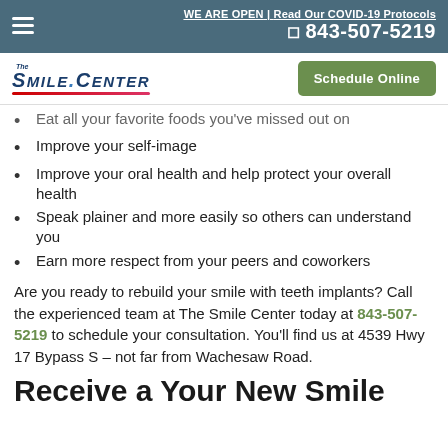WE ARE OPEN | Read Our COVID-19 Protocols
☎ 843-507-5219
[Figure (logo): The Smile Center logo with stylized text and red underline arc]
Eat all your favorite foods you've missed out on
Improve your self-image
Improve your oral health and help protect your overall health
Speak plainer and more easily so others can understand you
Earn more respect from your peers and coworkers
Are you ready to rebuild your smile with teeth implants? Call the experienced team at The Smile Center today at 843-507-5219 to schedule your consultation. You'll find us at 4539 Hwy 17 Bypass S – not far from Wachesaw Road.
Receive a Your New Smile